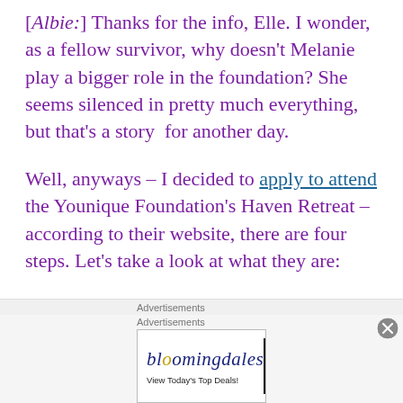[Albie:] Thanks for the info, Elle. I wonder, as a fellow survivor, why doesn't Melanie play a bigger role in the foundation? She seems silenced in pretty much everything, but that's a story for another day.

Well, anyways – I decided to apply to attend the Younique Foundation's Haven Retreat – according to their website, there are four steps. Let's take a look at what they are:
[Figure (other): Bloomingdale's advertisement banner with hat image and 'SHOP NOW >' button]